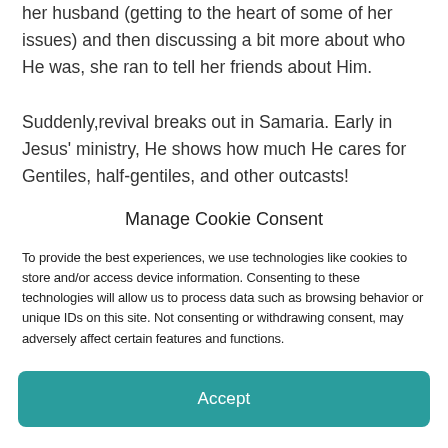her husband (getting to the heart of some of her issues) and then discussing a bit more about who He was, she ran to tell her friends about Him.
Suddenly,revival breaks out in Samaria. Early in Jesus' ministry, He shows how much He cares for Gentiles, half-gentiles, and other outcasts!
Manage Cookie Consent
To provide the best experiences, we use technologies like cookies to store and/or access device information. Consenting to these technologies will allow us to process data such as browsing behavior or unique IDs on this site. Not consenting or withdrawing consent, may adversely affect certain features and functions.
Accept